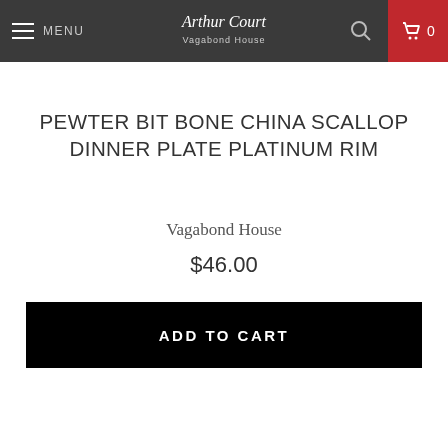MENU | Arthur Court Vagabond House | 0
PEWTER BIT BONE CHINA SCALLOP DINNER PLATE PLATINUM RIM
Vagabond House
$46.00
ADD TO CART